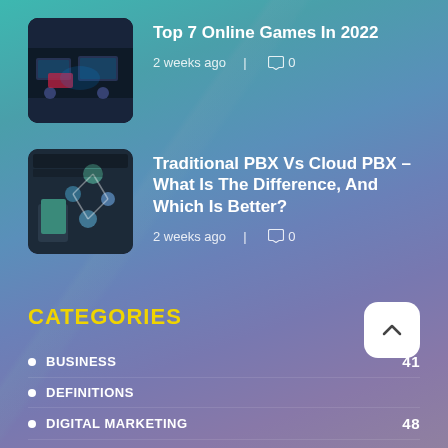[Figure (photo): Gaming scene with players at computers in dark neon-lit room]
Top 7 Online Games In 2022
2 weeks ago  |  0
[Figure (photo): Traditional PBX vs Cloud PBX article thumbnail with phone and network icons]
Traditional PBX Vs Cloud PBX – What Is The Difference, And Which Is Better?
2 weeks ago  |  0
CATEGORIES
BUSINESS    41
DEFINITIONS
DIGITAL MARKETING    48
EDUCATION    28